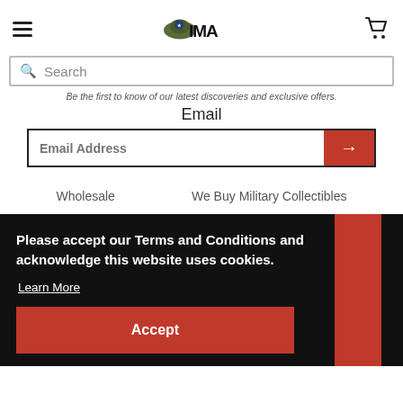CIMA - navigation header with hamburger menu, logo, and cart icon
Search
Be the first to know of our latest discoveries and exclusive offers.
Email
Email Address
Wholesale
We Buy Military Collectibles
Please accept our Terms and Conditions and acknowledge this website uses cookies.
Learn More
Accept